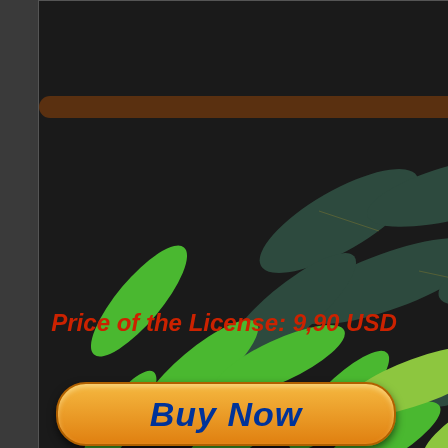[Figure (illustration): Yellow Parrots in the Jungle Vector Caribbean Art illustration showing tropical foliage with green and dark teal leaves, yellow bird feathers visible at top right corner, on a dark background]
Yellow Parrots in the Jungle Vector Caribbean Art © BluedarkA TheChameleonArt
Price of the License: 9,90 USD
[Figure (other): PayPal Buy Now orange button]